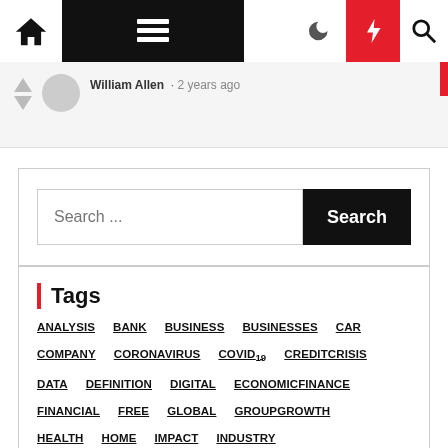Navigation bar with home, menu, moon, bolt, and search icons
William Allen · 2 years ago
Search ...
Tags
ANALYSIS
BANK
BUSINESS
BUSINESSES
CAR
COMPANY
CORONAVIRUS
COVID19
CREDIT
CRISIS
DATA
DEFINITION
DIGITAL
ECONOMIC
FINANCE
FINANCIAL
FREE
GLOBAL
GROUP
GROWTH
HEALTH
HOME
IMPACT
INDUSTRY